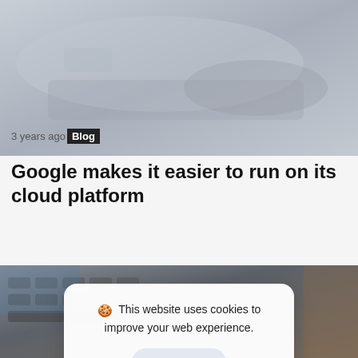[Figure (photo): Blurred photo of a person's hands on a laptop keyboard, grey tones]
3 years ago Blog
Google makes it easier to run on its cloud platform
[Figure (photo): Blurred photo of a laptop keyboard, dark grey tones]
🍪 This website uses cookies to improve your web experience. Accept